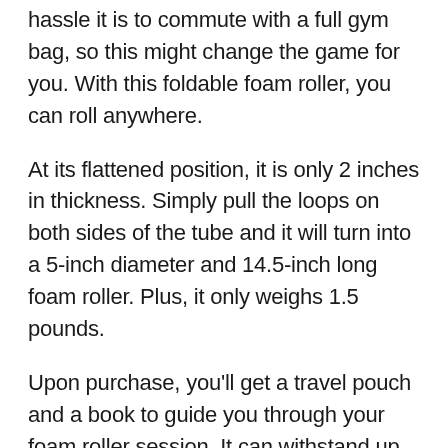hassle it is to commute with a full gym bag, so this might change the game for you. With this foldable foam roller, you can roll anywhere.
At its flattened position, it is only 2 inches in thickness. Simply pull the loops on both sides of the tube and it will turn into a 5-inch diameter and 14.5-inch long foam roller. Plus, it only weighs 1.5 pounds.
Upon purchase, you'll get a travel pouch and a book to guide you through your foam roller session. It can withstand up to 350 pounds, which I honestly did not expect with a foldable foam roller.